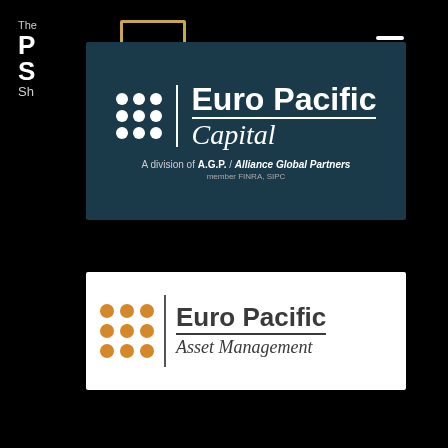[Figure (logo): Partial logo — The Peter Schiff Show with gold border, top-left corner, partially obscured]
[Figure (logo): Hamburger menu icon, three white horizontal bars, top-right corner]
[Figure (logo): Euro Pacific Capital logo on dark teal background — 3x3 white dot grid, vertical divider, text 'Euro Pacific Capital' with tagline 'A division of A.G.P. / Alliance Global Partners, member FINRA, SIPC']
[Figure (logo): Euro Pacific Asset Management logo on white background — 3x3 orange dot grid, vertical divider, text 'Euro Pacific Asset Management']